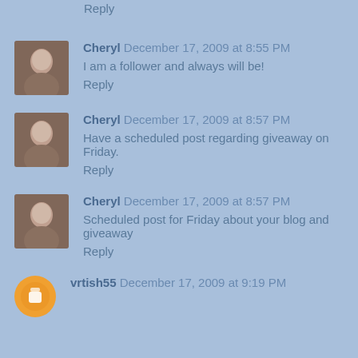Reply
Cheryl  December 17, 2009 at 8:55 PM
I am a follower and always will be!
Reply
Cheryl  December 17, 2009 at 8:57 PM
Have a scheduled post regarding giveaway on Friday.
Reply
Cheryl  December 17, 2009 at 8:57 PM
Scheduled post for Friday about your blog and giveaway
Reply
vrtish55  December 17, 2009 at 9:19 PM